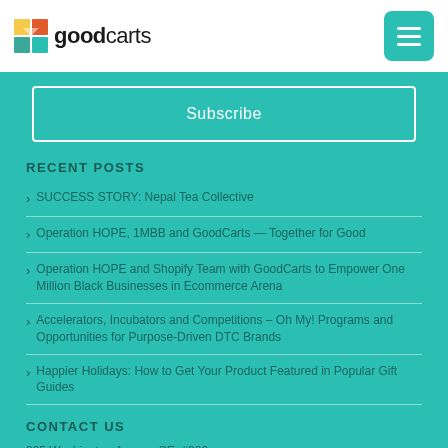goodcarts
Subscribe
RECENT POSTS
SUCCESS STORY: Nepal Tea Collective
Operation HOPE, 1MBB and GoodCarts — Together for Good
Operation HOPE and Shopify Team with GoodCarts to Empower One Million Black Businesses in Ecommerce Arena
Accelerators, Incubators and Competitions – Oh My! Programs and Opportunities for Purpose-Driven DTC Brands
Happier Holidays: How to Get Your Product Featured in Popular Gift Guides
CONTACT US
825 Washington Avenue SE, #200
Minneapolis, MN 55414, USA
Email: hello@goodcarts...